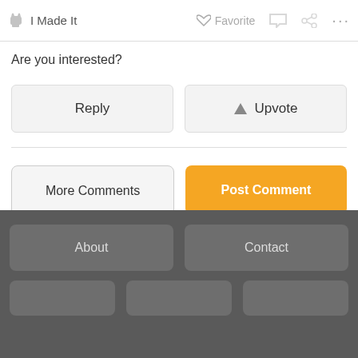I Made It   Favorite   ···
Are you interested?
Reply
Upvote
More Comments
Post Comment
About
Contact